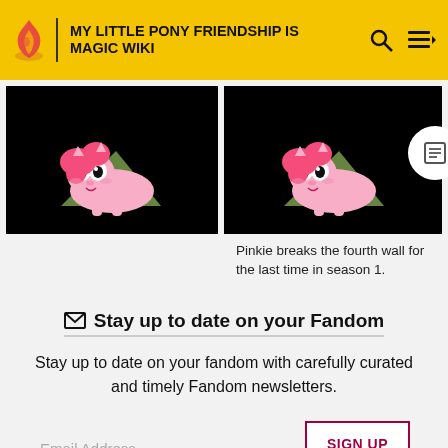MY LITTLE PONY FRIENDSHIP IS MAGIC WIKI
[Figure (screenshot): Two side-by-side video thumbnails showing Pinkie Pie pony character leaning over a triangular shape on a black background. Right thumbnail has a circular badge overlay with a list/document icon.]
Pinkie breaks the fourth wall for the last time in season 1.
Stay up to date on your Fandom
Stay up to date on your fandom with carefully curated and timely Fandom newsletters.
Email Address
SIGN UP